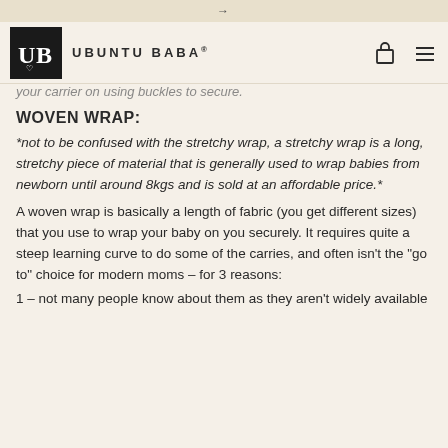→
UBUNTU BABA®
your carrier on using buckles to secure.
WOVEN WRAP:
*not to be confused with the stretchy wrap, a stretchy wrap is a long, stretchy piece of material that is generally used to wrap babies from newborn until around 8kgs and is sold at an affordable price.*
A woven wrap is basically a length of fabric (you get different sizes) that you use to wrap your baby on you securely. It requires quite a steep learning curve to do some of the carries, and often isn't the "go to" choice for modern moms – for 3 reasons:
1 – not many people know about them as they aren't widely available